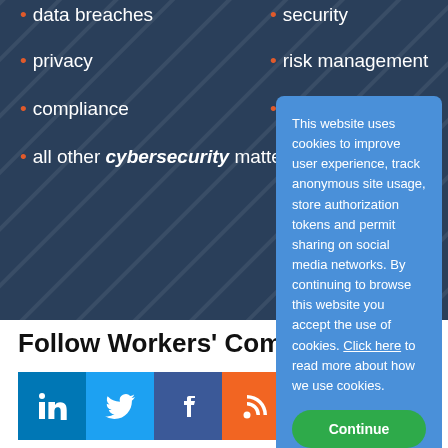data breaches
security
privacy
risk management
compliance
global regulations
all other cybersecurity matters
Follow Workers' Compen...
[Figure (infographic): Social media icons: LinkedIn, Twitter, Facebook, RSS, Email]
WHAT'S YOUR INTEREST?
All Subjects
Administrative Agencies
Agriculture
Alternative Dispute Resolution (A...
Antitrust & Trade Regulation
Art, Entertainment, & Sports
This website uses cookies to improve user experience, track anonymous site usage, store authorization tokens and permit sharing on social media networks. By continuing to browse this website you accept the use of cookies. Click here to read more about how we use cookies.
Continue